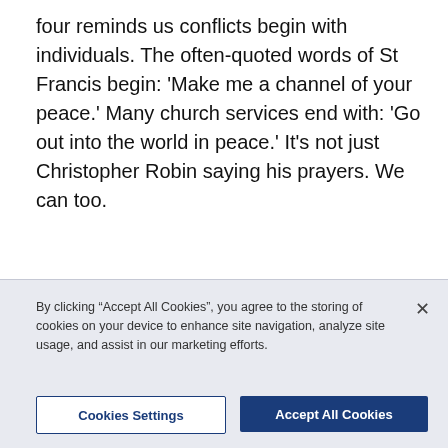four reminds us conflicts begin with individuals. The often-quoted words of St Francis begin: 'Make me a channel of your peace.' Many church services end with: 'Go out into the world in peace.' It's not just Christopher Robin saying his prayers. We can too.
By clicking “Accept All Cookies”, you agree to the storing of cookies on your device to enhance site navigation, analyze site usage, and assist in our marketing efforts.
Cookies Settings
Accept All Cookies